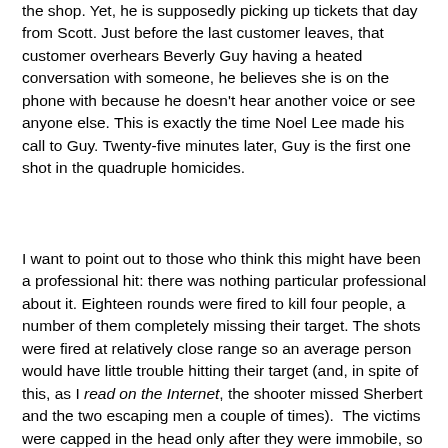the shop. Yet, he is supposedly picking up tickets that day from Scott. Just before the last customer leaves, that customer overhears Beverly Guy having a heated conversation with someone, he believes she is on the phone with because he doesn't hear another voice or see anyone else. This is exactly the time Noel Lee made his call to Guy. Twenty-five minutes later, Guy is the first one shot in the quadruple homicides.
I want to point out to those who think this might have been a professional hit: there was nothing particular professional about it. Eighteen rounds were fired to kill four people, a number of them completely missing their target. The shots were fired at relatively close range so an average person would have little trouble hitting their target (and, in spite of this, as I read on the Internet, the shooter missed Sherbert and the two escaping men a couple of times). The victims were capped in the head only after they were immobile, so this didn't require much talent either. The killer left all the shell casings on the floor which meant he left evidence. This is not a brilliant crime nor an overly skilled one. It was simply opportunistic. No one saw the killer commit the crime and he